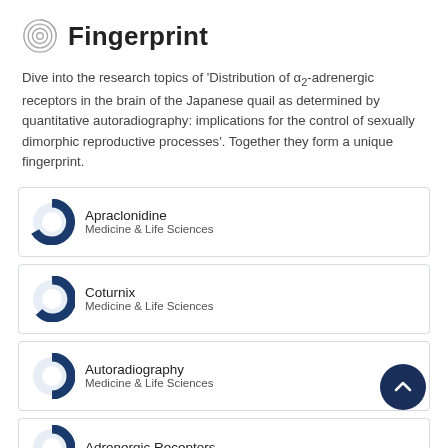Fingerprint
Dive into the research topics of 'Distribution of α₂-adrenergic receptors in the brain of the Japanese quail as determined by quantitative autoradiography: implications for the control of sexually dimorphic reproductive processes'. Together they form a unique fingerprint.
Apraclonidine — Medicine & Life Sciences
Coturnix — Medicine & Life Sciences
Autoradiography — Medicine & Life Sciences
Adrenergic Receptors